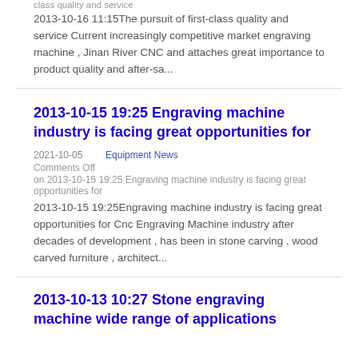class quality and service
2013-10-16 11:15The pursuit of first-class quality and service Current increasingly competitive market engraving machine , Jinan River CNC and attaches great importance to product quality and after-sa...
2013-10-15 19:25 Engraving machine industry is facing great opportunities for
2021-10-05    Equipment News
Comments Off
on 2013-10-15 19:25 Engraving machine industry is facing great opportunities for
2013-10-15 19:25Engraving machine industry is facing great opportunities for Cnc Engraving Machine industry after decades of development , has been in stone carving , wood carved furniture , architect...
2013-10-13 10:27 Stone engraving machine wide range of applications